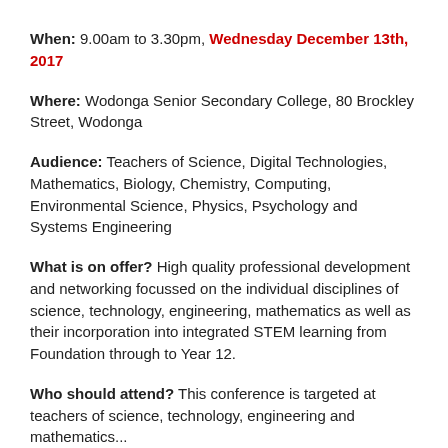When: 9.00am to 3.30pm, Wednesday December 13th, 2017
Where: Wodonga Senior Secondary College, 80 Brockley Street, Wodonga
Audience: Teachers of Science, Digital Technologies, Mathematics, Biology, Chemistry, Computing, Environmental Science, Physics, Psychology and Systems Engineering
What is on offer? High quality professional development and networking focussed on the individual disciplines of science, technology, engineering, mathematics as well as their incorporation into integrated STEM learning from Foundation through to Year 12.
Who should attend? This conference is targeted at teachers of science, technology, engineering and mathematics...